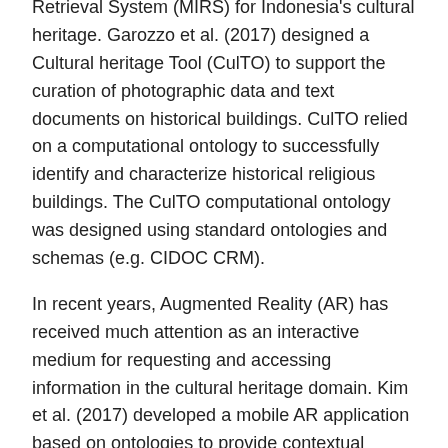Retrieval System (MIRS) for Indonesia's cultural heritage. Garozzo et al. (2017) designed a Cultural heritage Tool (CulTO) to support the curation of photographic data and text documents on historical buildings. CulTO relied on a computational ontology to successfully identify and characterize historical religious buildings. The CulTO computational ontology was designed using standard ontologies and schemas (e.g. CIDOC CRM).
In recent years, Augmented Reality (AR) has received much attention as an interactive medium for requesting and accessing information in the cultural heritage domain. Kim et al. (2017) developed a mobile AR application based on ontologies to provide contextual information about cultural heritage sites, such as the person who created the site and the events that occurred at that location. A cultural heritage ontology aggregates heterogeneous data by using the Korea Cultural Heritage Data Model. In the same vein, the